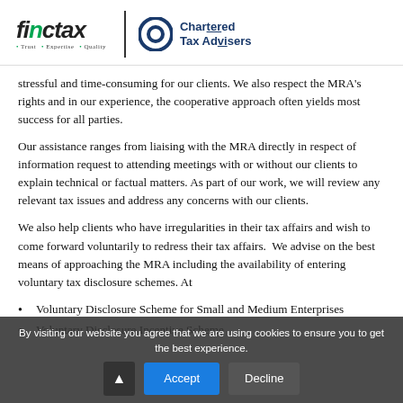[Figure (logo): Finctax logo with tagline 'Trust Expertise Quality' and Chartered Tax Advisers logo with circular O icon]
stressful and time-consuming for our clients. We also respect the MRA's rights and in our experience, the cooperative approach often yields most success for all parties.
Our assistance ranges from liaising with the MRA directly in respect of information request to attending meetings with or without our clients to explain technical or factual matters. As part of our work, we will review any relevant tax issues and address any concerns with our clients.
We also help clients who have irregularities in their tax affairs and wish to come forward voluntarily to redress their tax affairs.  We advise on the best means of approaching the MRA including the availability of entering voluntary tax disclosure schemes. At
Voluntary Disclosure Scheme for Small and Medium Enterprises
Voluntary Disclosure Incentive Scheme